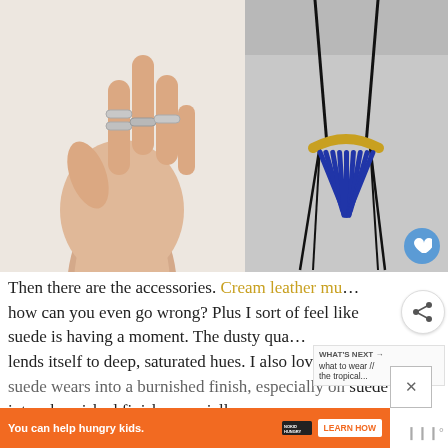[Figure (photo): Hand with silver rings on multiple fingers against white background]
[Figure (photo): Blue suede fringe necklace with gold bar accent on dark cord, against gray background]
Then there are the accessories. Cream leather mu... how can you even go wrong? Plus I sort of feel like suede is having a moment. The dusty qua... lends itself to deep, saturated hues. I also love the way suede wears into a burnished finish, especially on sh...
[Figure (other): Heart favorite button (blue circle)]
[Figure (other): Share button]
WHAT'S NEXT → what to wear // the tropical...
[Figure (other): Advertisement banner: You can help hungry kids. No Kid Hungry. Learn How.]